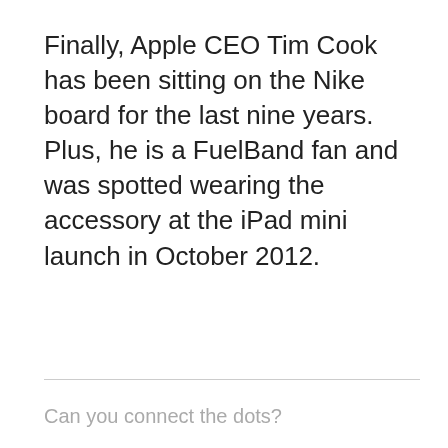Finally, Apple CEO Tim Cook has been sitting on the Nike board for the last nine years. Plus, he is a FuelBand fan and was spotted wearing the accessory at the iPad mini launch in October 2012.
Can you connect the dots?